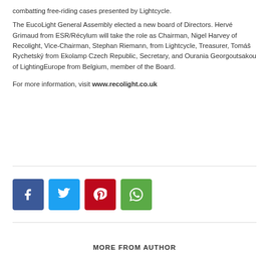combatting free-riding cases presented by Lightcycle.
The EucoLight General Assembly elected a new board of Directors. Hervé Grimaud from ESR/Récylum will take the role as Chairman, Nigel Harvey of Recolight, Vice-Chairman, Stephan Riemann, from Lightcycle, Treasurer, Tomáš Rychetský from Ekolamp Czech Republic, Secretary, and Ourania Georgoutsakou of LightingEurope from Belgium, member of the Board.
For more information, visit www.recolight.co.uk
[Figure (other): Social media sharing buttons: Facebook (blue), Twitter (light blue), Pinterest (red), WhatsApp (green)]
MORE FROM AUTHOR